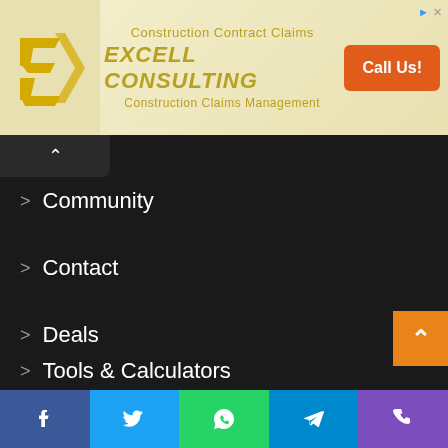[Figure (screenshot): Advertisement banner for Excell Consulting showing logo, company name, and Call Us button with orange/gold color scheme]
> Community
> Contact
> Deals
> Tools & Calculators
[Figure (infographic): Social media icon buttons: RSS (orange), Facebook (blue), Twitter (light blue)]
Categories
[Figure (infographic): Footer social share bar with Facebook, Twitter, WhatsApp, Telegram, and Phone icons]